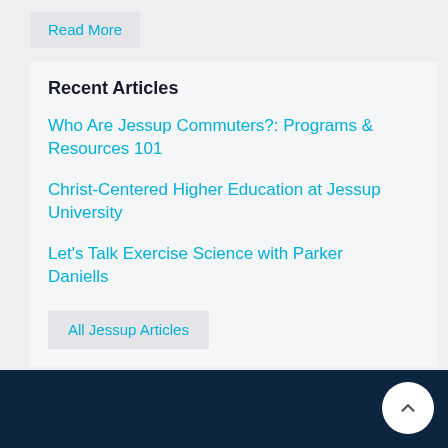Read More
Recent Articles
Who Are Jessup Commuters?: Programs & Resources 101
Christ-Centered Higher Education at Jessup University
Let's Talk Exercise Science with Parker Daniells
All Jessup Articles